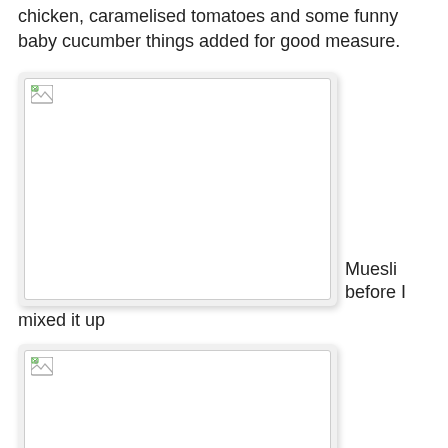chicken, caramelised tomatoes and some funny baby cucumber things added for good measure.
[Figure (photo): Broken image placeholder for muesli before mixing]
Muesli before I mixed it up
[Figure (photo): Broken image placeholder, second figure]